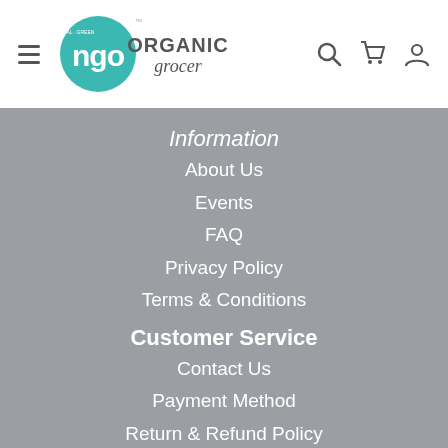[Figure (logo): NGO Natural Green Organic Grocer logo with teal circular emblem and text]
Information
About Us
Events
FAQ
Privacy Policy
Terms & Conditions
Customer Service
Contact Us
Payment Method
Return & Refund Policy
My Account
My Account